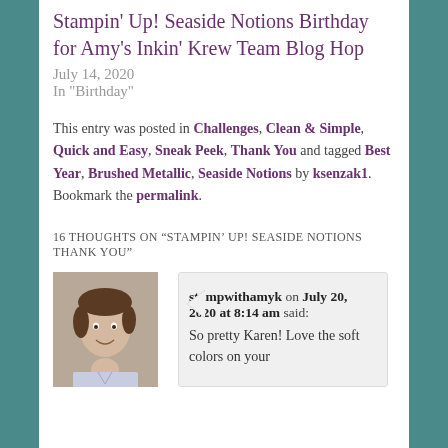Stampin' Up! Seaside Notions Birthday for Amy's Inkin' Krew Team Blog Hop
July 14, 2020
In "Birthday"
This entry was posted in Challenges, Clean & Simple, Quick and Easy, Sneak Peek, Thank You and tagged Best Year, Brushed Metallic, Seaside Notions by ksenzak1. Bookmark the permalink.
16 THOUGHTS ON “STAMPIN’ UP! SEASIDE NOTIONS THANK YOU”
stampwithamyk on July 20, 2020 at 8:14 am said: So pretty Karen! Love the soft colors on your